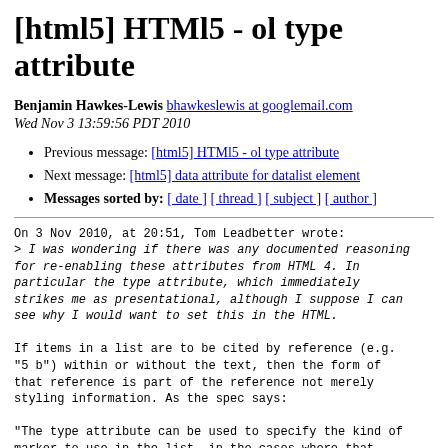[html5] HTMl5 - ol type attribute
Benjamin Hawkes-Lewis bhawkeslewis at googlemail.com
Wed Nov 3 13:59:56 PDT 2010
Previous message: [html5] HTMl5 - ol type attribute
Next message: [html5] data attribute for datalist element
Messages sorted by: [ date ] [ thread ] [ subject ] [ author ]
On 3 Nov 2010, at 20:51, Tom Leadbetter wrote:
> I was wondering if there was any documented reasoning for re-enabling these attributes from HTML 4. In particular the type attribute, which immediately strikes me as presentational, although I suppose I can see why I would want to set this in the HTML.

If items in a list are to be cited by reference (e.g. "5 b") within or without the text, then the form of that reference is part of the reference not merely styling information. As the spec says:

"The type attribute can be used to specify the kind of marker to use in the list, in the cases where that